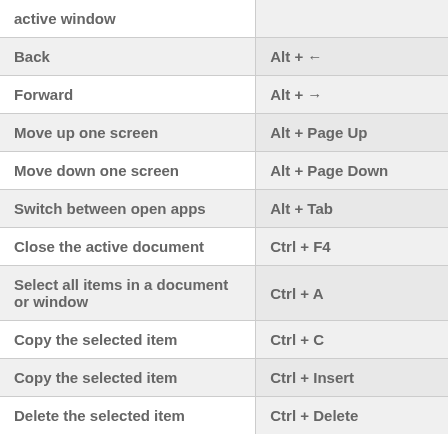| Action | Shortcut |
| --- | --- |
| active window |  |
| Back | Alt + ← |
| Forward | Alt + → |
| Move up one screen | Alt + Page Up |
| Move down one screen | Alt + Page Down |
| Switch between open apps | Alt + Tab |
| Close the active document | Ctrl + F4 |
| Select all items in a document or window | Ctrl + A |
| Copy the selected item | Ctrl + C |
| Copy the selected item | Ctrl + Insert |
| Delete the selected item | Ctrl + Delete |